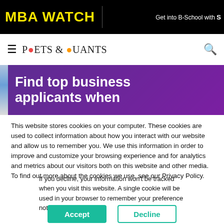MBA WATCH
[Figure (logo): Poets & Quants logo with hamburger menu and search icon on white navigation bar]
[Figure (illustration): Purple banner advertisement: Find top business applicants when]
This website stores cookies on your computer. These cookies are used to collect information about how you interact with our website and allow us to remember you. We use this information in order to improve and customize your browsing experience and for analytics and metrics about our visitors both on this website and other media. To find out more about the cookies we use, see our Privacy Policy.
If you decline, your information won't be tracked when you visit this website. A single cookie will be used in your browser to remember your preference not to be tracked.
Accept    Decline